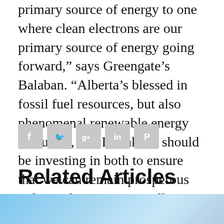primary source of energy to one where clean electrons are our primary source of energy going forward," says Greengate’s Balaban. “Alberta’s blessed in fossil fuel resources, but also phenomenal renewable energy resources, and I think we should be investing in both to ensure that we can remain prosperous today and prosperous well into the future.”
[Figure (other): Social media share buttons: Facebook, Twitter, Google+, LinkedIn, Pinterest — rendered as grey rounded-square icons]
Related Articles
[Figure (photo): Article thumbnail image showing sky with clouds, overlaid with category tags: BY THE NUMBERS, INVEST IN ALBERTA, TRANSPORTATION & LOGISTICS]